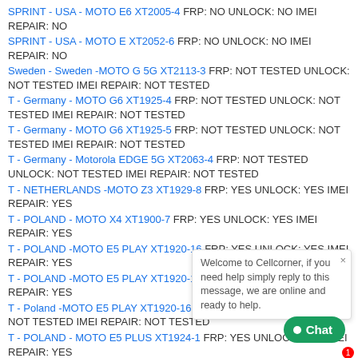SPRINT - USA - MOTO E6 XT2005-4 FRP: NO UNLOCK: NO IMEI REPAIR: NO
SPRINT - USA - MOTO E XT2052-6 FRP: NO UNLOCK: NO IMEI REPAIR: NO
Sweden - Sweden -MOTO G 5G XT2113-3 FRP: NOT TESTED UNLOCK: NOT TESTED IMEI REPAIR: NOT TESTED
T - Germany - MOTO G6 XT1925-4 FRP: NOT TESTED UNLOCK: NOT TESTED IMEI REPAIR: NOT TESTED
T - Germany - MOTO G6 XT1925-5 FRP: NOT TESTED UNLOCK: NOT TESTED IMEI REPAIR: NOT TESTED
T - Germany - Motorola EDGE 5G XT2063-4 FRP: NOT TESTED UNLOCK: NOT TESTED IMEI REPAIR: NOT TESTED
T - NETHERLANDS -MOTO Z3 XT1929-8 FRP: YES UNLOCK: YES IMEI REPAIR: YES
T - POLAND - MOTO X4 XT1900-7 FRP: YES UNLOCK: YES IMEI REPAIR: YES
T - POLAND -MOTO E5 PLAY XT1920-16 FRP: YES UNLOCK: YES IMEI REPAIR: YES
T - POLAND -MOTO E5 PLAY XT1920-16 FRP: YES UNLOCK: YES IMEI REPAIR: YES
T - Poland -MOTO E5 PLAY XT1920-16-E FRP: NOT TESTED UNLOCK: NOT TESTED IMEI REPAIR: NOT TESTED
T - POLAND - MOTO E5 PLUS XT1924-1 FRP: YES UNLOCK: YES IMEI REPAIR: YES
T - POLAND - MOTO E5 PLUS XT1924-1 FRP: YES UNLOCK: YES IMEI REPAIR: YES